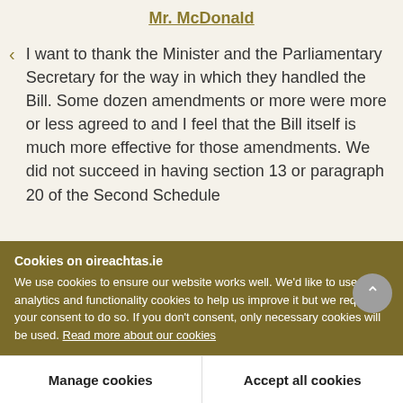Mr. McDonald
I want to thank the Minister and the Parliamentary Secretary for the way in which they handled the Bill. Some dozen amendments or more were more or less agreed to and I feel that the Bill itself is much more effective for those amendments. We did not succeed in having section 13 or paragraph 20 of the Second Schedule
Cookies on oireachtas.ie
We use cookies to ensure our website works well. We'd like to use analytics and functionality cookies to help us improve it but we require your consent to do so. If you don't consent, only necessary cookies will be used. Read more about our cookies
Manage cookies
Accept all cookies